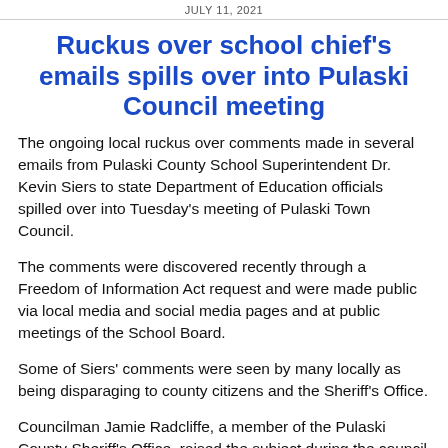JULY 11, 2021
Ruckus over school chief's emails spills over into Pulaski Council meeting
The ongoing local ruckus over comments made in several emails from Pulaski County School Superintendent Dr. Kevin Siers to state Department of Education officials spilled over into Tuesday's meeting of Pulaski Town Council.
The comments were discovered recently through a Freedom of Information Act request and were made public via local media and social media pages and at public meetings of the School Board.
Some of Siers' comments were seen by many locally as being disparaging to county citizens and the Sheriff's Office.
Councilman Jamie Radcliffe, a member of the Pulaski County Sheriff's Office, raised the subject during the council comments period of Tuesday's meeting